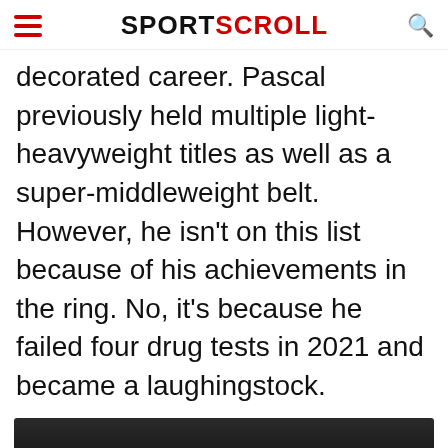SPORTSCROLL
decorated career. Pascal previously held multiple light-heavyweight titles as well as a super-middleweight belt. However, he isn't on this list because of his achievements in the ring. No, it's because he failed four drug tests in 2021 and became a laughingstock.
[Figure (photo): Dark image strip at bottom of article, partially visible]
Advertisement
[Figure (screenshot): BitLife - Life Simulator advertisement banner with Ad badge, cartoon character on blue/yellow background, red panel with sperm icon, and Install button]